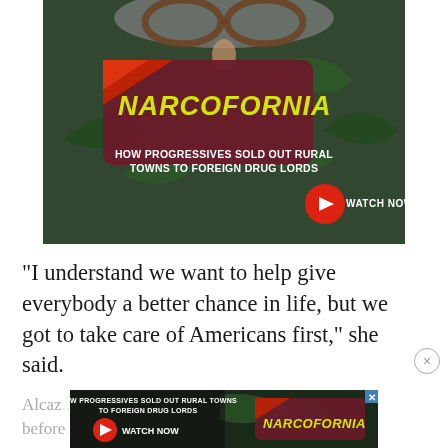[Figure (photo): Advertisement banner for 'Narcofornia' documentary. Shows a person wearing glasses and a cannabis-leaf patterned mask/clothing. Dark maroon card overlay with yellow bold text 'NARCOFORNIA'. Below: white text 'HOW PROGRESSIVES SOLD OUT RURAL TOWNS TO FOREIGN DRUG LORDS'. Red play button circle with 'WATCH NOW' text on the right.]
“I understand we want to help give everybody a better chance in life, but we got to take care of Americans first,” she said.
[Figure (photo): Second overlapping advertisement for same Narcofornia documentary, partially covering the body text below. Shows red 'WATCH NOW' button on left and Narcofornia logo on right over cannabis background.]
Alcaz... ahead ... beyond before...